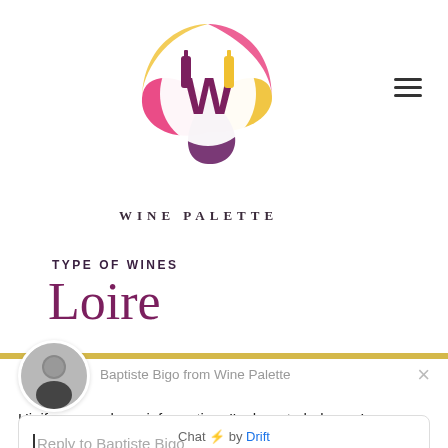[Figure (logo): Wine Palette circular logo with wine bottles forming a 'W' shape, yellow, pink and purple colors]
WINE PALETTE
TYPE OF WINES
Loire
[Figure (photo): Small circular avatar photo of Baptiste Bigo, a man smiling, black and white]
Baptiste Bigo from Wine Palette
Hi, if you need any information, I'm here to help you!
Reply to Baptiste Bigo
Chat ⚡ by Drift